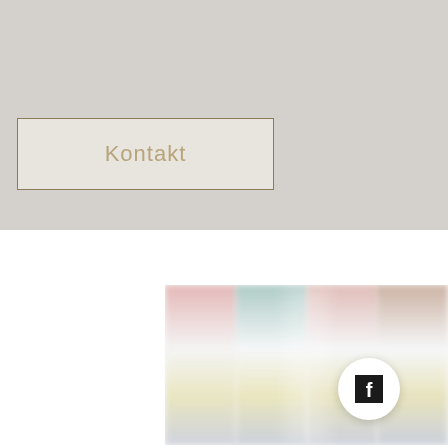[Figure (screenshot): Website navigation bar with Facebook and Instagram social media icons, a 'Kontakt' button with golden border, shopping cart icon with 0 badge, and hamburger menu icon, on a light gray background]
[Figure (photo): Blurred product photo showing four bottles/containers with colorful labels arranged side by side, with golden/yellow bases]
[Figure (logo): Floating Facebook logo button — white circular button with black Facebook 'f' icon, bottom right corner]